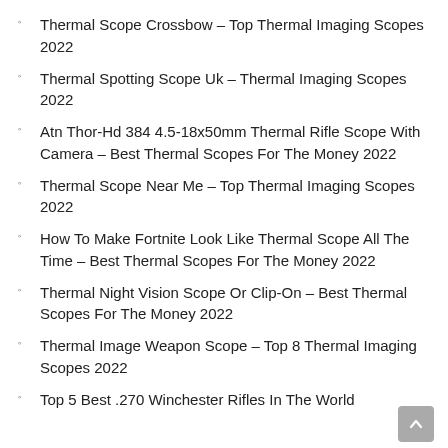Thermal Scope Crossbow – Top Thermal Imaging Scopes 2022
Thermal Spotting Scope Uk – Thermal Imaging Scopes 2022
Atn Thor-Hd 384 4.5-18x50mm Thermal Rifle Scope With Camera – Best Thermal Scopes For The Money 2022
Thermal Scope Near Me – Top Thermal Imaging Scopes 2022
How To Make Fortnite Look Like Thermal Scope All The Time – Best Thermal Scopes For The Money 2022
Thermal Night Vision Scope Or Clip-On – Best Thermal Scopes For The Money 2022
Thermal Image Weapon Scope – Top 8 Thermal Imaging Scopes 2022
Top 5 Best .270 Winchester Rifles In The World